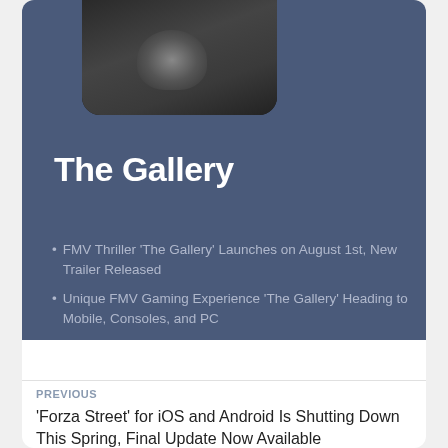[Figure (photo): Thumbnail image of a person in dark military-style clothing, cropped at top of card]
The Gallery
FMV Thriller 'The Gallery' Launches on August 1st, New Trailer Released
Unique FMV Gaming Experience 'The Gallery' Heading to Mobile, Consoles, and PC
PREVIOUS
'Forza Street' for iOS and Android Is Shutting Down This Spring, Final Update Now Available
NEXT